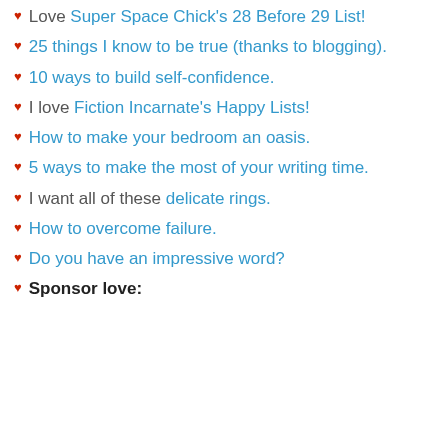Love Super Space Chick's 28 Before 29 List!
25 things I know to be true (thanks to blogging).
10 ways to build self-confidence.
I love Fiction Incarnate's Happy Lists!
How to make your bedroom an oasis.
5 ways to make the most of your writing time.
I want all of these delicate rings.
How to overcome failure.
Do you have an impressive word?
Sponsor love: